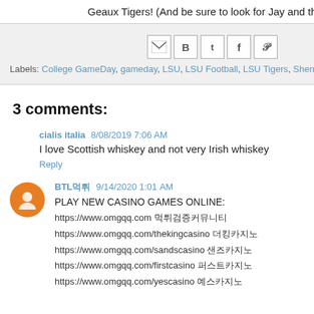Geaux Tigers!  (And be sure to look for Jay and the Bite and Booze team o…
[Figure (other): Social share buttons: Gmail, Blogger, Twitter, Facebook, Pinterest]
Labels: College GameDay, gameday, LSU, LSU Football, LSU Tigers, Sherry, Spain, Spa…
3 comments:
cialis italia  8/08/2019 7:06 AM
I love Scottish whiskey and not very Irish whiskey
Reply
BTL먹튀  9/14/2020 1:01 AM
PLAY NEW CASINO GAMES ONLINE:
https://www.omgqq.com 먹튀검증커뮤니티
https://www.omgqq.com/thekingcasino 더킹카지노
https://www.omgqq.com/sandscasino 샌즈카지노
https://www.omgqq.com/firstcasino 퍼스트카지노
https://www.omgqq.com/yescasino 예스카지노